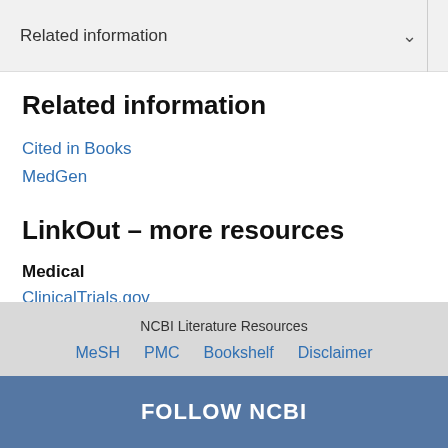Related information
Related information
Cited in Books
MedGen
LinkOut – more resources
Medical
ClinicalTrials.gov
NCBI Literature Resources  MeSH  PMC  Bookshelf  Disclaimer
FOLLOW NCBI